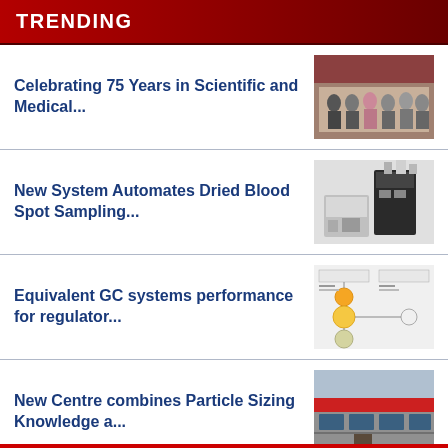TRENDING
Celebrating 75 Years in Scientific and Medical...
[Figure (photo): Group photo of staff standing in front of a building]
New System Automates Dried Blood Spot Sampling...
[Figure (photo): Laboratory/analytical instrument system]
Equivalent GC systems performance for regulator...
[Figure (schematic): GC system performance diagram with flowchart elements]
New Centre combines Particle Sizing Knowledge a...
[Figure (photo): Exterior of a modern building with red and grey facade]